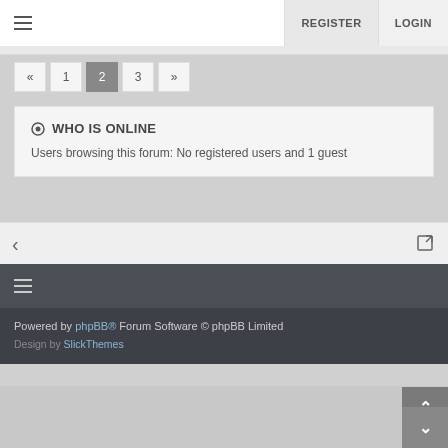≡  REGISTER  LOGIN
« 1 2 3 »
WHO IS ONLINE
Users browsing this forum: No registered users and 1 guest
Powered by phpBB® Forum Software © phpBB Limited
Design by SlickThemes